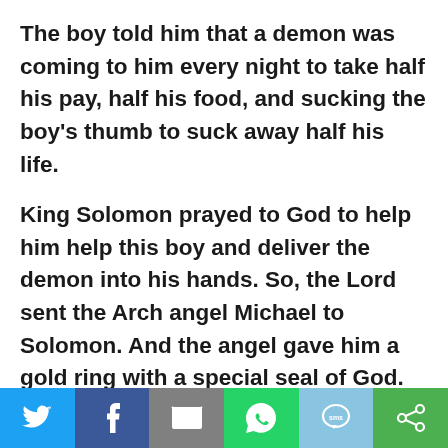The boy told him that a demon was coming to him every night to take half his pay, half his food, and sucking the boy's thumb to suck away half his life.
King Solomon prayed to God to help him help this boy and deliver the demon into his hands. So, the Lord sent the Arch angel Michael to Solomon. And the angel gave him a gold ring with a special seal of God. To control all demons.
[Figure (infographic): Social sharing bar with Twitter, Facebook, Email, WhatsApp, SMS, and another share icon buttons.]